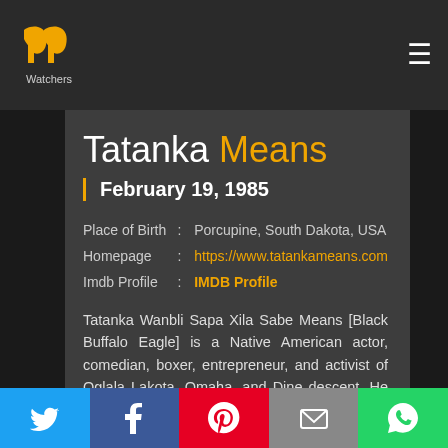[Figure (logo): PP Watchers logo with orange double-P icon and 'Watchers' text below]
Tatanka Means
February 19, 1985
| Place of Birth | : | Porcupine, South Dakota, USA |
| Homepage | : | https://www.tatankameans.com |
| Imdb Profile | : | IMDB Profile |
Tatanka Wanbli Sapa Xila Sabe Means [Black Buffalo Eagle] is a Native American actor, comedian, boxer, entrepreneur, and activist of Oglala Lakota, Omaha, and Dine descent. He is best known for his roles in Saints & Strangers and
[Figure (infographic): Social sharing bar with Twitter, Facebook, Pinterest, Email, and WhatsApp buttons]